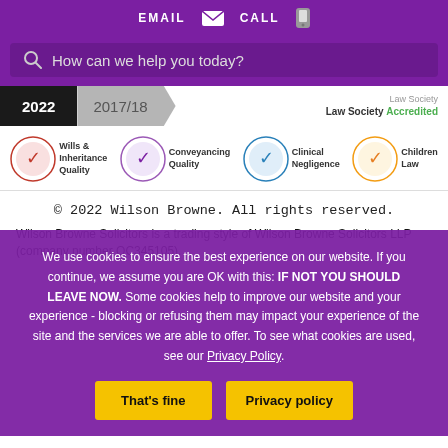EMAIL   CALL
How can we help you today?
[Figure (logo): Accreditation banner showing year 2022 in black and 2017/18 in gray arrow, plus Law Society Accredited logo]
[Figure (logo): Law Society badges: Wills & Inheritance Quality, Conveyancing Quality, Clinical Negligence, Children Law]
© 2022 Wilson Browne. All rights reserved.
Wilson Browne Solicitors is a trading style of Wilson Browne Solicitors LLP (company number OC345105).
We use cookies to ensure the best experience on our website. If you continue, we assume you are OK with this: IF NOT YOU SHOULD LEAVE NOW. Some cookies help to improve our website and your experience - blocking or refusing them may impact your experience of the site and the services we are able to offer. To see what cookies are used, see our Privacy Policy.
That's fine   Privacy policy